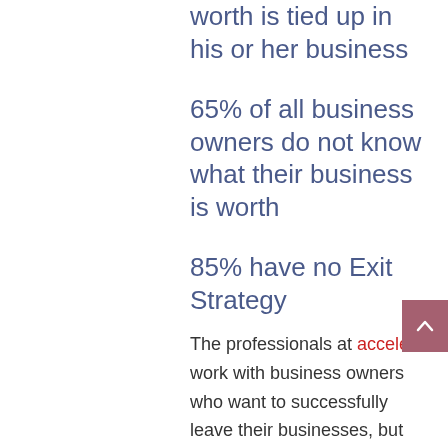worth is tied up in his or her business
65% of all business owners do not know what their business is worth
85% have no Exit Strategy
The professionals at acceler8 work with business owners who want to successfully leave their businesses, but are uncertain how to best accomplish that goal.
By using a systematic approach to take control of the succession planning process we work to